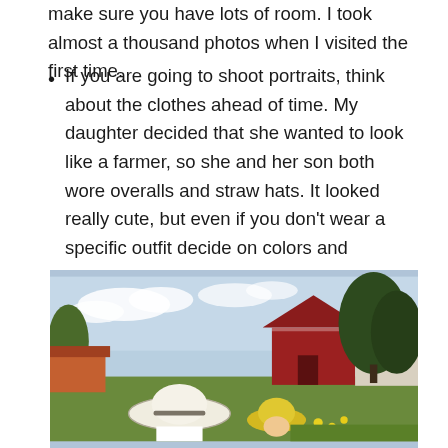make sure you have lots of room. I took almost a thousand photos when I visited the first time.
If you are going to shoot portraits, think about the clothes ahead of time. My daughter decided that she wanted to look like a farmer, so she and her son both wore overalls and straw hats. It looked really cute, but even if you don’t wear a specific outfit decide on colors and whether you want to match or not.
[Figure (photo): A farm scene with a red barn and large evergreen trees in the background. In the foreground are two people wearing hats — one with a wide white straw hat and one with a yellow hat — outdoors on a sunny day.]